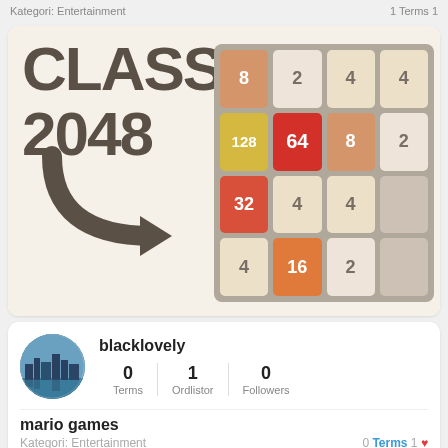Kategori: Entertainment   1 Terms 1
[Figure (screenshot): Classic 2048 game screenshot showing a 4x4 grid with tiles of various values (8, 2, 4, 4, 128, 64, 8, 2, 32, 4, 4, empty, 4, 16, 2, empty) and a curved arrow logo with CLASSIC 2048 text]
blacklovely
0 Terms  1 Ordlistor  0 Followers
mario games
Kategori: Entertainment   0 Terms 1 ❤